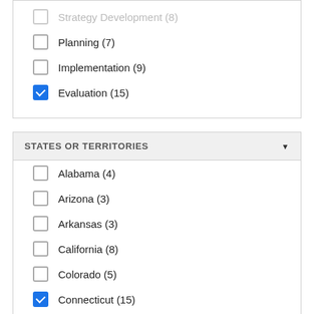Strategy Development (8)
Planning (7)
Implementation (9)
Evaluation (15) [checked]
STATES OR TERRITORIES
Alabama (4)
Arizona (3)
Arkansas (3)
California (8)
Colorado (5)
Connecticut (15) [checked]
Delaware (1)